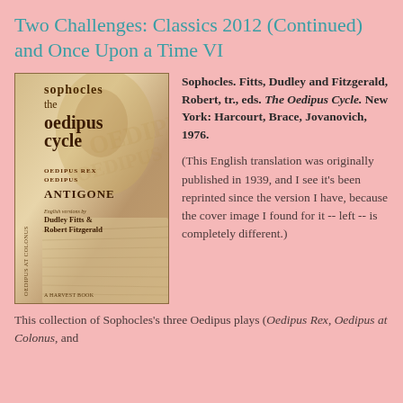Two Challenges: Classics 2012 (Continued) and Once Upon a Time VI
[Figure (photo): Book cover of 'The Oedipus Cycle' by Sophocles, translated by Dudley Fitts and Robert Fitzgerald. Cover shows a classical face illustration with sepia tones and text showing plays: Oedipus Rex, Antigone, Oedipus at Colonus.]
Sophocles. Fitts, Dudley and Fitzgerald, Robert, tr., eds. The Oedipus Cycle. New York: Harcourt, Brace, Jovanovich, 1976.
(This English translation was originally published in 1939, and I see it's been reprinted since the version I have, because the cover image I found for it -- left -- is completely different.)
This collection of Sophocles's three Oedipus plays (Oedipus Rex, Oedipus at Colonus, and